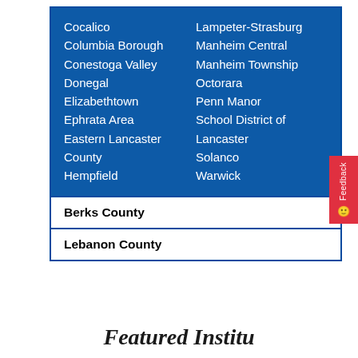Cocalico, Columbia Borough, Conestoga Valley, Donegal, Elizabethtown, Ephrata Area, Eastern Lancaster County, Hempfield, Lampeter-Strasburg, Manheim Central, Manheim Township, Octorara, Penn Manor, School District of Lancaster, Solanco, Warwick
Berks County
Lebanon County
Featured Institutions